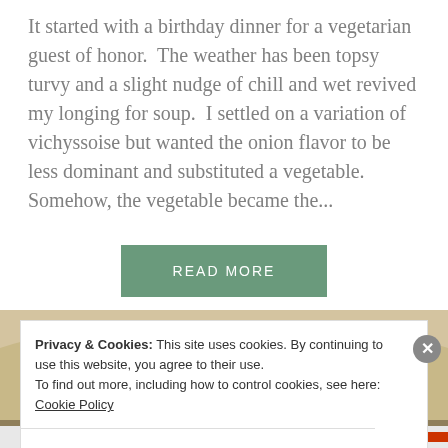It started with a birthday dinner for a vegetarian guest of honor.  The weather has been topsy turvy and a slight nudge of chill and wet revived my longing for soup.  I settled on a variation of vichyssoise but wanted the onion flavor to be less dominant and substituted a vegetable.  Somehow, the vegetable became the...
READ MORE
[Figure (photo): Food photo showing a dish with yellow/golden chunks (possibly potatoes or dumplings), green peas, and brown crumbled ingredients on a plate]
Privacy & Cookies: This site uses cookies. By continuing to use this website, you agree to their use.
To find out more, including how to control cookies, see here: Cookie Policy
Close and accept